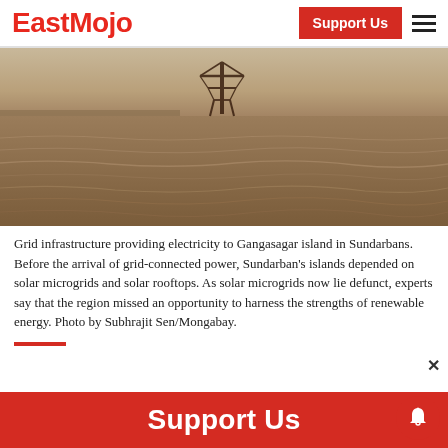EastMojo | Support Us
[Figure (photo): Sepia-toned photograph of water/sea with a grid infrastructure tower/pylon visible in the background, used to illustrate electricity grid infrastructure providing power to Gangasagar island in Sundarbans.]
Grid infrastructure providing electricity to Gangasagar island in Sundarbans. Before the arrival of grid-connected power, Sundarban's islands depended on solar microgrids and solar rooftops. As solar microgrids now lie defunct, experts say that the region missed an opportunity to harness the strengths of renewable energy. Photo by Subhrajit Sen/Mongabay.
Support Us